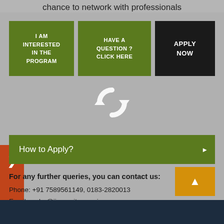chance to network with professionals
[Figure (infographic): Three buttons: 'I AM INTERESTED IN THE PROGRAM' (green), 'HAVE A QUESTION? CLICK HERE' (green), 'APPLY NOW' (black)]
[Figure (illustration): White circular refresh/sync icon]
How to Apply?
For any further queries, you can contact us:
Phone: +91 7589561149, 0183-2820013
Email: emba@iimamritsar.ac.in, anshulm@iimamritsar.ac.in